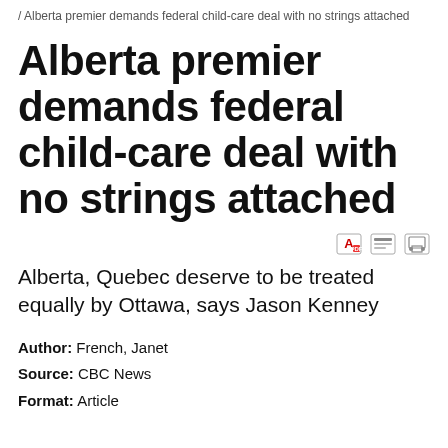/ Alberta premier demands federal child-care deal with no strings attached
Alberta premier demands federal child-care deal with no strings attached
Alberta, Quebec deserve to be treated equally by Ottawa, says Jason Kenney
Author: French, Janet
Source: CBC News
Format: Article